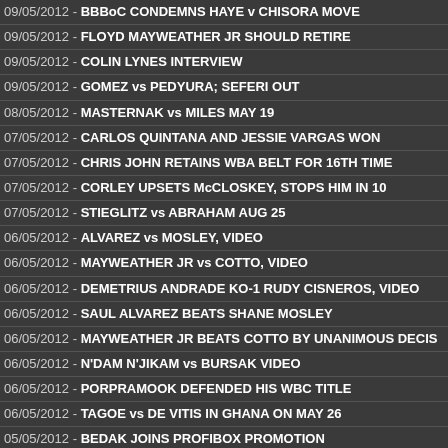09/05/2012 - BBBoC CONDEMNS HAYE v CHISORA MOVE
09/05/2012 - FLOYD MAYWEATHER JR SHOULD RETIRE
09/05/2012 - COLIN LYNES INTERVIEW
09/05/2012 - GOMEZ vs PEDYURA; SEFERI OUT
08/05/2012 - MASTERNAK vs MILES MAY 19
07/05/2012 - CARLOS QUINTANA AND JESSIE VARGAS WON
07/05/2012 - CHRIS JOHN RETAINS WBA BELT FOR 16TH TIME
07/05/2012 - CORLEY UPSETS McCLOSKEY, STOPS HIM IN 10
07/05/2012 - STIEGLITZ vs ABRAHAM AUG 25
06/05/2012 - ALVAREZ vs MOSLEY, VIDEO
06/05/2012 - MAYWEATHER JR vs COTTO, VIDEO
06/05/2012 - DEMETRIUS ANDRADE KO-1 RUDY CISNEROS, VIDEO
06/05/2012 - SAUL ALVAREZ BEATS SHANE MOSLEY
06/05/2012 - MAYWEATHER JR BEATS COTTO BY UNANIMOUS DECIS
06/05/2012 - N'DAM N'JIKAM vs BURSAK VIDEO
06/05/2012 - PORPRAMOOK DEFENDED HIS WBC TITLE
06/05/2012 - TAGOE vs DE VITIS IN GHANA ON MAY 26
05/05/2012 - BEDAK JOINS PROFIBOX PROMOTION
05/05/2012 - MAYWEATHER-COTTO FULL COVERAGE
04/05/2012 - JOHN, KIMURA MAKE WEIGHT
04/05/2012 - WBF DOUBLEHEADER IN HUNGARY
04/05/2012 - DRAGON PUNCH vs HANAGATA SPECIAL
04/05/2012 - ALVAREZ AND MOSLEY FACE TO FACE
04/05/2012 - MAYWEATHER JR AND COTTO ARE CONFIDENT IN WINN
04/05/2012 - MAYWEATHER-COTTO, BOXING CHANNEL FULL COVER
03/05/2012 - BEN MURPHY: NOW I WANT THE BRITISH TITLE